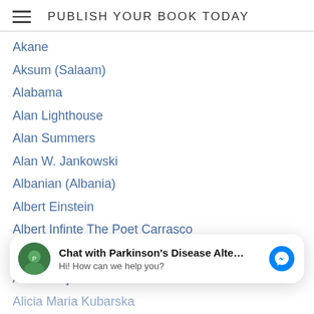PUBLISH YOUR BOOK TODAY
Akane
Aksum (Salaam)
Alabama
Alan Lighthouse
Alan Summers
Alan W. Jankowski
Albanian (Albania)
Albert Einstein
Albert Infinte The Poet Carrasco
Alexis Rotella
Alfreda Ghee
Ali Abdolrezaei
Alice Forresteron
Alice Pero
Chat with Parkinson's Disease Alte... Hi! How can we help you?
Alicia Minjarez Ramirez
Alicia Maria Kubarska